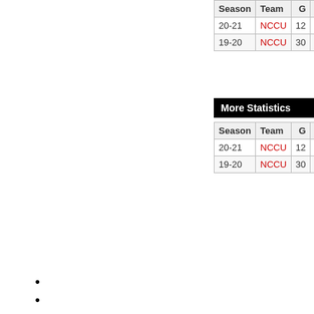| Season | Team | G | Min | FG | FGA | FG% |
| --- | --- | --- | --- | --- | --- | --- |
| 20-21 | NCCU | 12 | 190 | 16 | 35 | 45.7 |
| 19-20 | NCCU | 30 | 408 | 49 | 102 | 48 |
More Statistics
| Season | Team | G | Min | Reb | RPG |
| --- | --- | --- | --- | --- | --- |
| 20-21 | NCCU | 12 | 190 | 24 | 2 |
| 19-20 | NCCU | 30 | 408 | 41 | 1.4 |